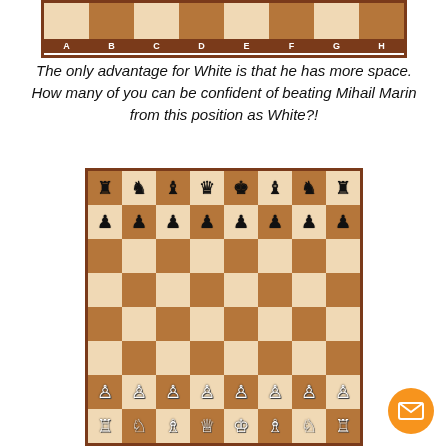[Figure (illustration): Top portion of a chess board showing row 1 with alternating light and dark squares and column labels A through H]
The only advantage for White is that he has more space. How many of you can be confident of beating Mihail Marin from this position as White?!
[Figure (illustration): Chess board showing a starting-like position with black pieces on rows 7-8 and white pieces on rows 1-2, with multiple pawns and major pieces on both sides]